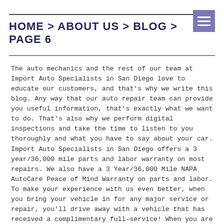HOME > ABOUT US > BLOG > PAGE 6
The auto mechanics and the rest of our team at Import Auto Specialists in San Diego love to educate our customers, and that's why we write this blog. Any way that our auto repair team can provide you useful information, that's exactly what we want to do. That's also why we perform digital inspections and take the time to listen to you thoroughly and what you have to say about your car. Import Auto Specialists in San Diego offers a 3 year/36,000 mile parts and labor warranty on most repairs. We also have a 3 Year/36,000 Mile NAPA AutoCare Peace of Mind Warranty on parts and labor. To make your experience with us even better, when you bring your vehicle in for any major service or repair, you'll drive away with a vehicle that has received a complimentary full-service! When you are ready for top-quality auto care, give us a call at 858-576-7186, or schedule an appointment today. We hope you enjoy our blog!